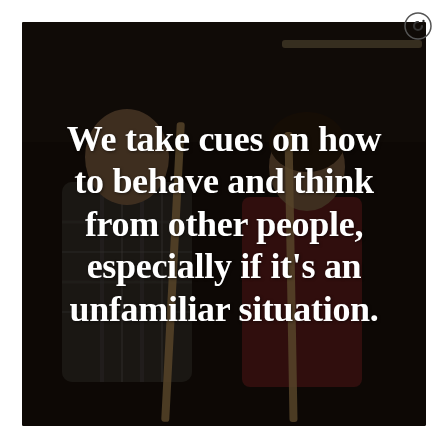[Figure (photo): Two people standing holding billiard/pool cues in a dark room, one wearing a plaid shirt and one wearing a red/burgundy top. Dark background with dim lighting. Large white bold quote text overlaid on the image reading: 'We take cues on how to behave and think from other people, especially if it's an unfamiliar situation.']
We take cues on how to behave and think from other people, especially if it's an unfamiliar situation.